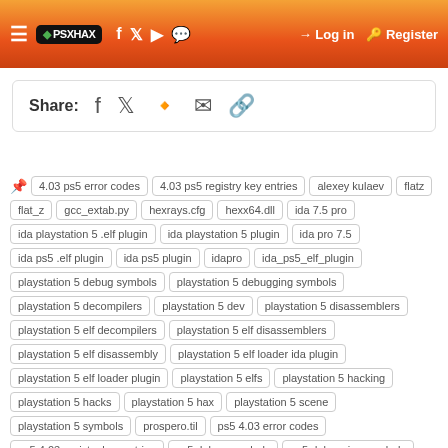≡ PSXHAX | f | Twitter | YouTube | Chat | → Log in | Register
Share: Facebook Twitter Reddit Email Link
4.03 ps5 error codes
4.03 ps5 registry key entries
alexey kulaev
flatz
flat_z
gcc_extab.py
hexrays.cfg
hexx64.dll
ida 7.5 pro
ida playstation 5 .elf plugin
ida playstation 5 plugin
ida pro 7.5
ida ps5 .elf plugin
ida ps5 plugin
idapro
ida_ps5_elf_plugin
playstation 5 debug symbols
playstation 5 debugging symbols
playstation 5 decompilers
playstation 5 dev
playstation 5 disassemblers
playstation 5 elf decompilers
playstation 5 elf disassemblers
playstation 5 elf disassembly
playstation 5 elf loader ida plugin
playstation 5 elf loader plugin
playstation 5 elfs
playstation 5 hacking
playstation 5 hacks
playstation 5 hax
playstation 5 scene
playstation 5 symbols
prospero.til
ps5 4.03 error codes
ps5 4.03 registry key entries
ps5 debug symbols
ps5 debugging symbols
ps5 decompilers
ps5 dev
ps5 disassemblers
ps5 elf disassemblers
ps5 elf disassembly
ps5 elf loader ida plugin
ps5 elf loader plugin
ps5 elfs
ps5 hacking
ps5 hacks
ps5 hax